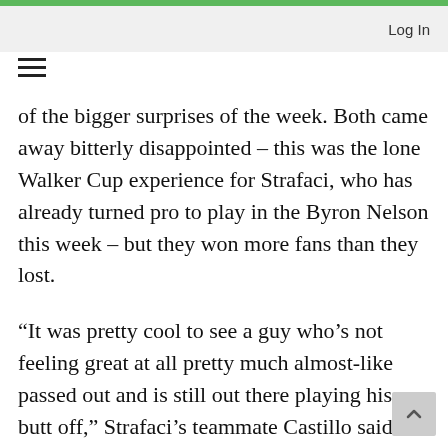Log In
of the bigger surprises of the week. Both came away bitterly disappointed – this was the lone Walker Cup experience for Strafaci, who has already turned pro to play in the Byron Nelson this week – but they won more fans than they lost.
“It was pretty cool to see a guy who’s not feeling great at all pretty much almost-like passed out and is still out there playing his butt off,” Strafaci’s teammate Castillo said.